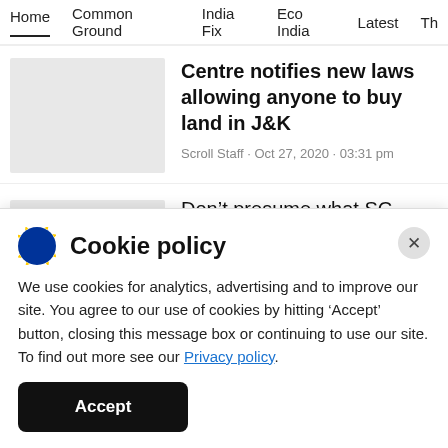Home · Common Ground · India Fix · Eco India · Latest · Th
Centre notifies new laws allowing anyone to buy land in J&K
Scroll Staff · Oct 27, 2020 · 03:31 pm
Don't presume what SC would say
Cookie policy
We use cookies for analytics, advertising and to improve our site. You agree to our use of cookies by hitting 'Accept' button, closing this message box or continuing to use our site. To find out more see our Privacy policy.
Accept